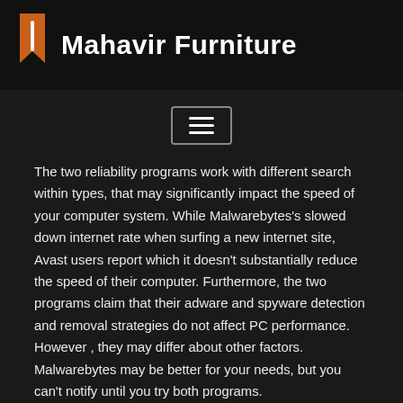Mahavir Furniture
[Figure (logo): Mahavir Furniture logo with orange pen/bookmark icon and white bold text]
The two reliability programs work with different search within types, that may significantly impact the speed of your computer system. While Malwarebytes's slowed down internet rate when surfing a new internet site, Avast users report which it doesn't substantially reduce the speed of their computer. Furthermore, the two programs claim that their adware and spyware detection and removal strategies do not affect PC performance. However , they may differ about other factors. Malwarebytes may be better for your needs, but you can't notify until you try both programs.
Not only is it cheaper, Avast is also better at wiping out malware. Malwarebytes is more effective, which means that